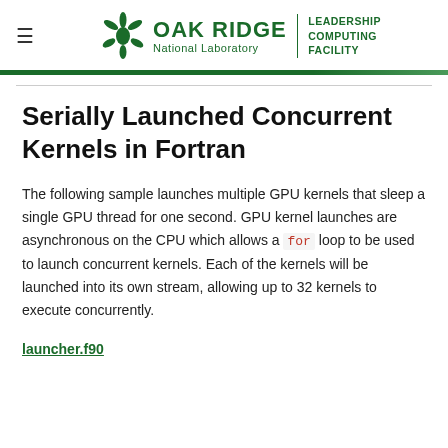Oak Ridge National Laboratory | Leadership Computing Facility
Serially Launched Concurrent Kernels in Fortran
The following sample launches multiple GPU kernels that sleep a single GPU thread for one second. GPU kernel launches are asynchronous on the CPU which allows a for loop to be used to launch concurrent kernels. Each of the kernels will be launched into its own stream, allowing up to 32 kernels to execute concurrently.
launcher.f90